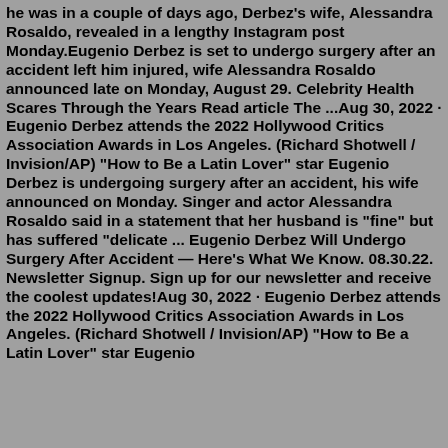he was in  a couple of days ago,  Derbez's wife, Alessandra Rosaldo, revealed in a lengthy Instagram post Monday.Eugenio Derbez is set to undergo surgery after an accident left him injured, wife Alessandra Rosaldo announced late on Monday, August 29. Celebrity Health Scares Through the Years Read article The ...Aug 30, 2022 · Eugenio Derbez attends the 2022 Hollywood Critics Association Awards in Los Angeles. (Richard Shotwell / Invision/AP) "How to Be a Latin Lover" star Eugenio Derbez is undergoing surgery after an accident, his wife announced on Monday. Singer and actor Alessandra Rosaldo said in a statement that her husband is "fine" but has suffered "delicate ... Eugenio Derbez Will Undergo Surgery After Accident — Here's What We Know. 08.30.22. Newsletter Signup. Sign up for our newsletter and receive the coolest updates!Aug 30, 2022 · Eugenio Derbez attends the 2022 Hollywood Critics Association Awards in Los Angeles. (Richard Shotwell / Invision/AP) "How to Be a Latin Lover" star Eugenio